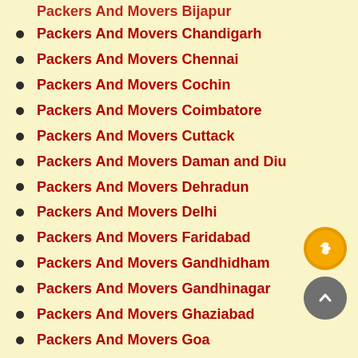Packers And Movers Bijapur
Packers And Movers Chandigarh
Packers And Movers Chennai
Packers And Movers Cochin
Packers And Movers Coimbatore
Packers And Movers Cuttack
Packers And Movers Daman and Diu
Packers And Movers Dehradun
Packers And Movers Delhi
Packers And Movers Faridabad
Packers And Movers Gandhidham
Packers And Movers Gandhinagar
Packers And Movers Ghaziabad
Packers And Movers Goa
Packers And Movers Gujarat
Packers And Movers Gurgaon